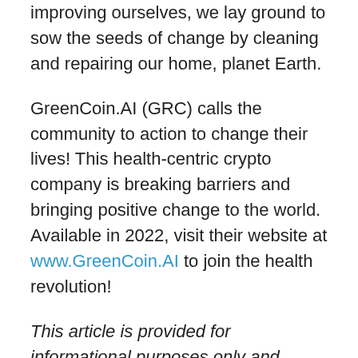improving ourselves, we lay ground to sow the seeds of change by cleaning and repairing our home, planet Earth.
GreenCoin.AI (GRC) calls the community to action to change their lives! This health-centric crypto company is breaking barriers and bringing positive change to the world. Available in 2022, visit their website at www.GreenCoin.AI to join the health revolution!
This article is provided for informational purposes only and should not be interpreted as investment advice. All investments involve risk of loss. Any reference to an investment's past or potential performance is not, and should not be construed as, a recommendation or as a guarantee of any specific outcome or profit.